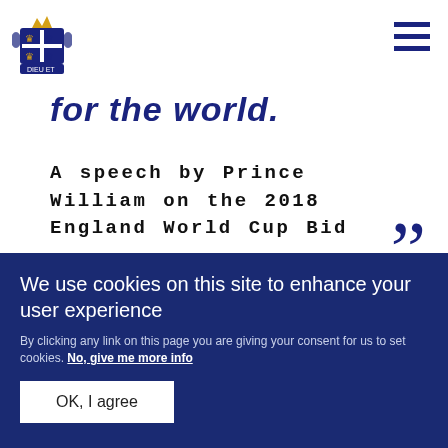[Figure (logo): Royal coat of arms logo, blue and gold, positioned top left]
for the world.
A speech by Prince William on the 2018 England World Cup Bid
”
We use cookies on this site to enhance your user experience
By clicking any link on this page you are giving your consent for us to set cookies. No, give me more info
OK, I agree